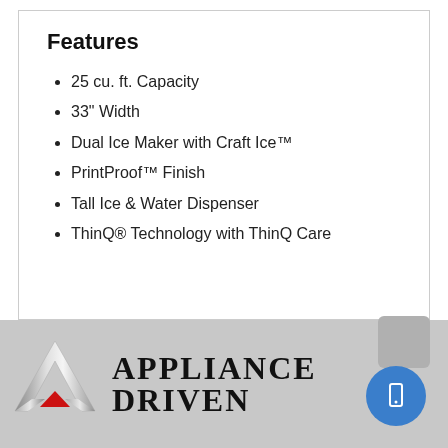Features
25 cu. ft. Capacity
33" Width
Dual Ice Maker with Craft Ice™
PrintProof™ Finish
Tall Ice & Water Dispenser
ThinQ® Technology with ThinQ Care
[Figure (logo): Appliance Driven logo with metallic chevron/arrow graphic and bold serif text reading APPLIANCE DRIVEN]